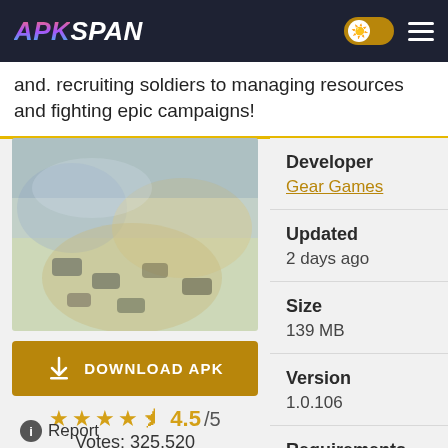APK SPAN
and fighting epic campaigns!
[Figure (screenshot): Blurry aerial view screenshot of a mobile strategy/war game showing military vehicles and terrain]
DOWNLOAD APK
4.5/5
Votes: 325,520
Report
| Field | Value |
| --- | --- |
| Developer | Gear Games |
| Updated | 2 days ago |
| Size | 139 MB |
| Version | 1.0.106 |
| Requirements |  |